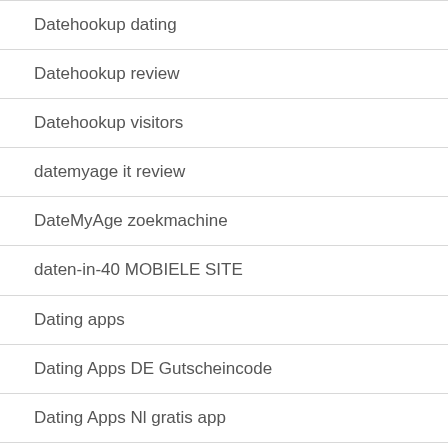Datehookup dating
Datehookup review
Datehookup visitors
datemyage it review
DateMyAge zoekmachine
daten-in-40 MOBIELE SITE
Dating apps
Dating Apps DE Gutscheincode
Dating Apps Nl gratis app
Dating apps pojedyncze miejsce, lokalizacja